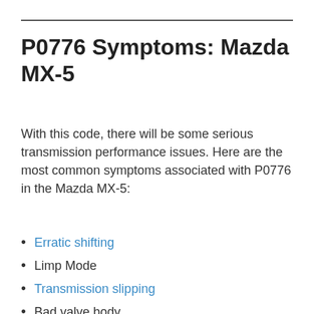P0776 Symptoms: Mazda MX-5
With this code, there will be some serious transmission performance issues. Here are the most common symptoms associated with P0776 in the Mazda MX-5:
Erratic shifting
Limp Mode
Transmission slipping
Bad valve body
Overheating transmission
Limp Mode